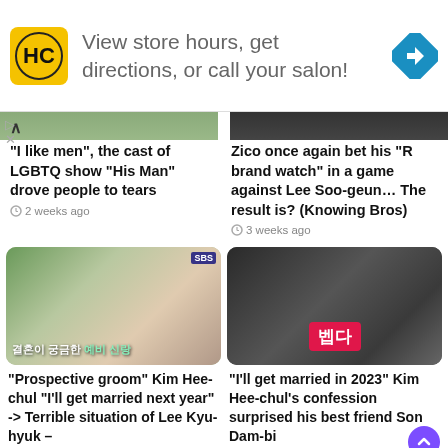[Figure (screenshot): Ad banner for HC salon with logo, text 'View store hours, get directions, or call your salon!' and navigation arrow icon]
"I like men", the cast of LGBTQ show "His Man" drove people to tears
2 weeks ago
Zico once again bet his "R brand watch" in a game against Lee Soo-geun... The result is? (Knowing Bros)
3 weeks ago
[Figure (photo): Wedding photo showing bride and groom with Korean text overlay for SBS show]
[Figure (photo): Car interior photo with woman, showing Korean red text badge]
"Prospective groom" Kim Hee-chul "I'll get married next year" -> Terrible situation of Lee Kyu-hyuk –
"I'll get married in 2023" Kim Hee-chul's confession surprised his best friend Son Dam-bi